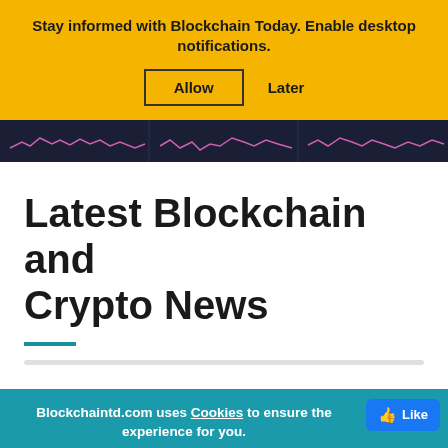Stay informed with Blockchain Today. Enable desktop notifications.
Allow  Later
[Figure (other): Dark background strip with pink crypto price chart lines]
Latest Blockchain and Crypto News
Blockchaintd.com uses Cookies to ensure the experience for you.
Accept  ×